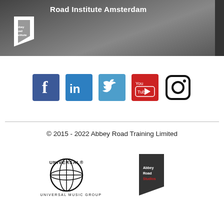[Figure (photo): Top banner showing Road Institute Amsterdam header with dark overlay and Abbey Road Institute logo in white]
[Figure (infographic): Row of five social media icons: Facebook (blue), LinkedIn (blue), Twitter (blue), YouTube (red), Instagram (black outline)]
© 2015 - 2022 Abbey Road Training Limited
[Figure (logo): Universal Music Group logo with globe graphic]
[Figure (logo): Abbey Road Studios logo with geometric arrow shape]